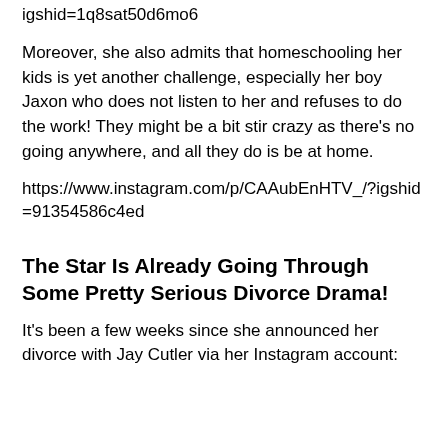igshid=1q8sat50d6mo6
Moreover, she also admits that homeschooling her kids is yet another challenge, especially her boy Jaxon who does not listen to her and refuses to do the work! They might be a bit stir crazy as there's no going anywhere, and all they do is be at home.
https://www.instagram.com/p/CAAubEnHTV_/?igshid=91354586c4ed
The Star Is Already Going Through Some Pretty Serious Divorce Drama!
It's been a few weeks since she announced her divorce with Jay Cutler via her Instagram account: